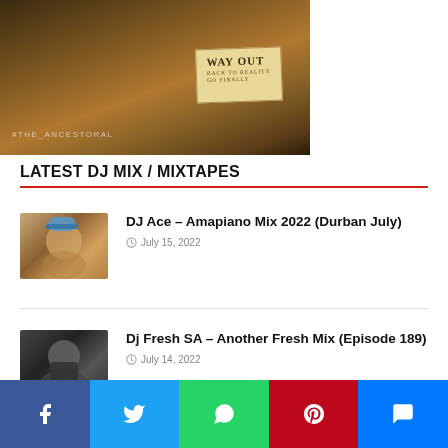[Figure (photo): Dark moody photo with brick-like textures and a 'WAY OUT' sign, watermark @THE_ANCESTORAL]
LATEST DJ MIX / MIXTAPES
[Figure (photo): Thumbnail photo of DJ Ace wearing a blue cap]
DJ Ace – Amapiano Mix 2022 (Durban July)
July 15, 2022
[Figure (photo): Thumbnail photo of Dj Fresh SA in a black t-shirt]
Dj Fresh SA – Another Fresh Mix (Episode 189)
July 14, 2022